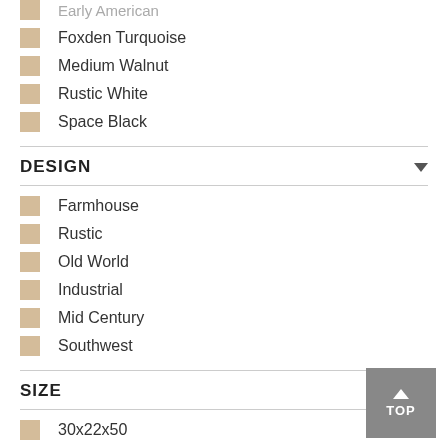Early American
Foxden Turquoise
Medium Walnut
Rustic White
Space Black
DESIGN
Farmhouse
Rustic
Old World
Industrial
Mid Century
Southwest
SIZE
30x22x50
60x20x32
48x32x18.5
40x22x80